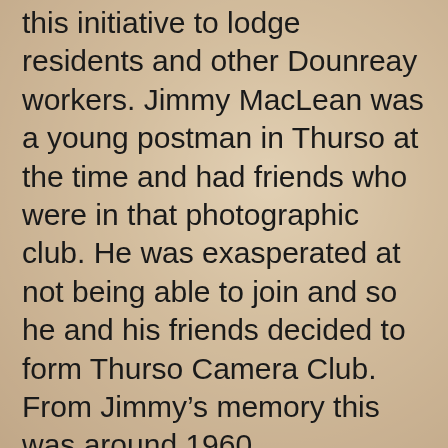this initiative to lodge residents and other Dounreay workers. Jimmy MacLean was a young postman in Thurso at the time and had friends who were in that photographic club. He was exasperated at not being able to join and so he and his friends decided to form Thurso Camera Club. From Jimmy's memory this was around 1960. Unfortunately, there are no surviving meeting minutes to give the exact start-up date.
Both camera clubs co-existed in the 1960s, with some of the Ormlie Lodge